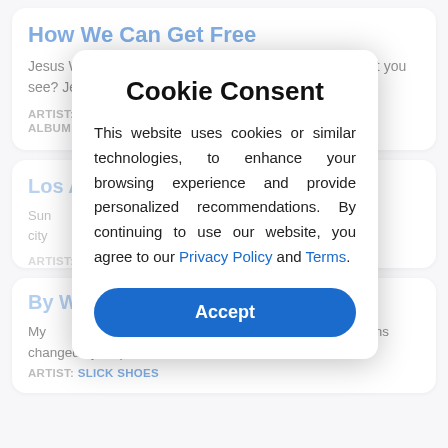How We Can Get Free
Jesus What do you believe? Sweet Jesus Is this hell that you see? Jesus We're in a holy rage ...
ARTIST: PINK MOUNTAINTOPS
ALBUM: AXIS OF EVOL
Los Angeles
Sun ... on the sound city ... Welcome to L...
ARTIST: STEREOPHONICS
ALBUM: ...
Cookie Consent
This website uses cookies or similar technologies, to enhance your browsing experience and provide personalized recommendations. By continuing to use our website, you agree to our Privacy Policy and Terms.
Accept
By What Right
My ... proud Now I am much older My opinions changed by leap...
ARTIST: SLICK SHOES